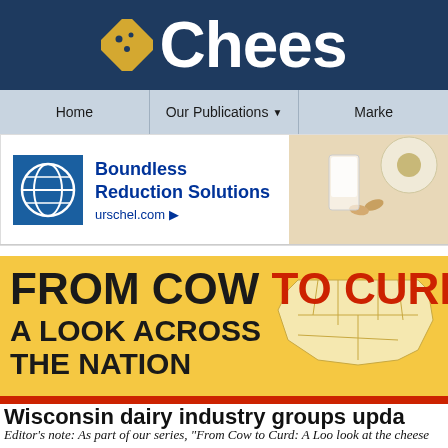Chees
Home | Our Publications ▾ | Marke
[Figure (screenshot): Advertisement banner for Boundless Reduction Solutions by Urschel. Blue logo on left, headline and URL in center, food/dairy product images on right.]
[Figure (infographic): From Cow to Curd: A Look Across the Nation - promotional banner with US map outline on yellow background]
Wisconsin dairy industry groups upda
Editor's note: As part of our series, "From Cow to Curd: A Loo look at the cheese and dairy industry across the United States